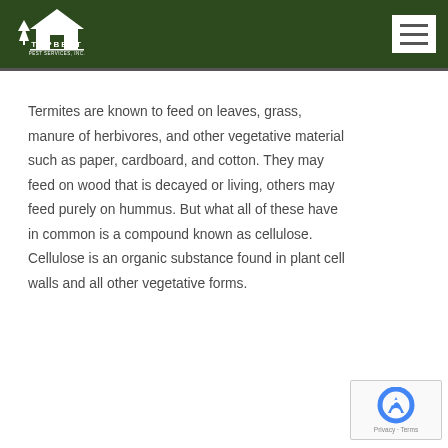Topbest Pest Services, Inc.
Termites are known to feed on leaves, grass, manure of herbivores, and other vegetative material such as paper, cardboard, and cotton. They may feed on wood that is decayed or living, others may feed purely on hummus. But what all of these have in common is a compound known as cellulose. Cellulose is an organic substance found in plant cell walls and all other vegetative forms.